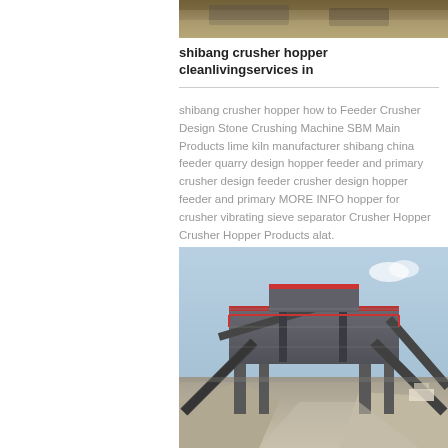[Figure (photo): Top partial image of industrial/mining machinery, cropped at top of page]
shibang crusher hopper cleanlivingservices in
shibang crusher hopper how to Feeder Crusher Design Stone Crushing Machine SBM Main Products lime kiln manufacturer shibang china feeder quarry design hopper feeder and primary crusher design feeder crusher design hopper feeder and primary MORE INFO hopper for crusher vibrating sieve separator Crusher Hopper Crusher Hopper Products alat.
[Figure (photo): Photograph of a large stone crushing facility with conveyor belts, structural platforms, machinery and gravel piles in an outdoor industrial setting]